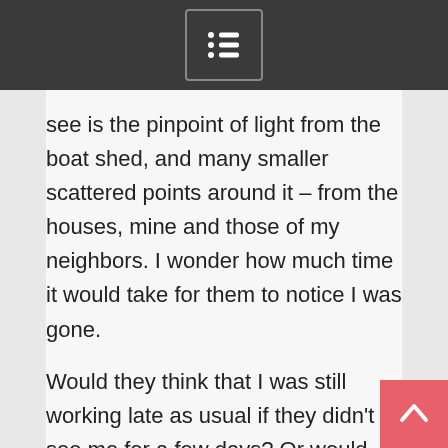[Menu icon]
see is the pinpoint of light from the boat shed, and many smaller scattered points around it – from the houses, mine and those of my neighbors. I wonder how much time it would take for them to notice I was gone.
Would they think that I was still working late as usual if they didn't see me for a few days? Or would someone see the little tell tale signs? The newspapers piling on the porch. The unkempt grass on the lawns. Or